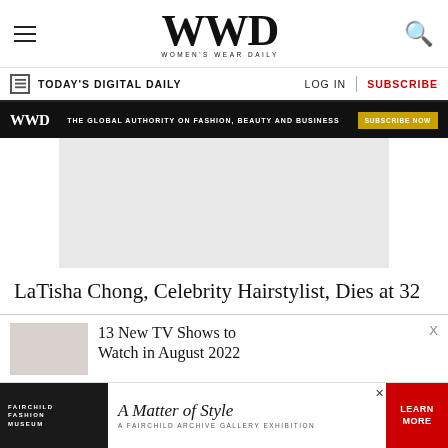WWD WOMEN'S WEAR DAILY
TODAY'S DIGITAL DAILY   LOG IN   SUBSCRIBE
[Figure (screenshot): WWD ad banner: THE GLOBAL AUTHORITY ON FASHION, BEAUTY AND BUSINESS — SUBSCRIBE NOW]
[Figure (photo): Gray placeholder image for article]
LaTisha Chong, Celebrity Hairstylist, Dies at 32
13 New TV Shows to Watch in August 2022
[Figure (photo): Thumbnail image for related article about TV shows]
[Figure (screenshot): Bottom advertisement: Fairchild Fashion Museum — A Matter of Style — A Fairchild Archive Gallery Exhibition — LEARN MORE]